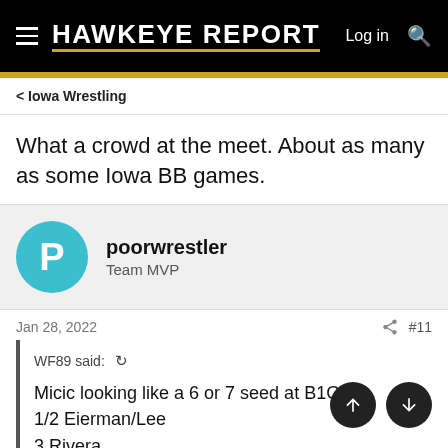Hawkeye Report
< Iowa Wrestling
What a crowd at the meet. About as many as some Iowa BB games.
poorwrestler
Team MVP
Jan 28, 2022   #11
WF89 said:
Micic looking like a 6 or 7 seed at B1G, 1/2 Eierman/Lee
3 Rivera